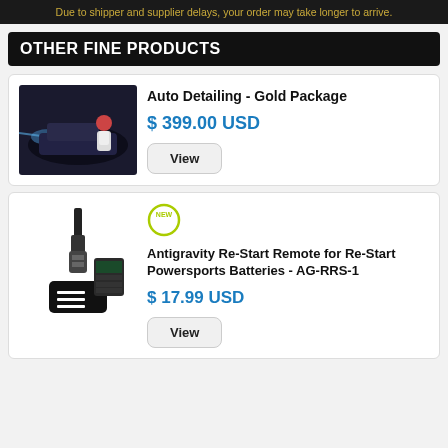Due to shipper and supplier delays, your order may take longer to arrive.
OTHER FINE PRODUCTS
Auto Detailing - Gold Package
$ 399.00 USD
View
Antigravity Re-Start Remote for Re-Start Powersports Batteries - AG-RRS-1
$ 17.99 USD
View